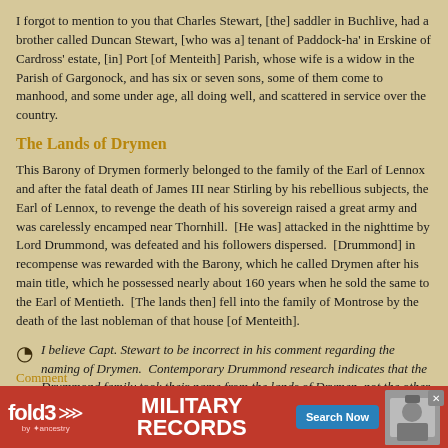I forgot to mention to you that Charles Stewart, [the] saddler in Buchlive, had a brother called Duncan Stewart, [who was a] tenant of Paddock-ha' in Erskine of Cardross' estate, [in] Port [of Menteith] Parish, whose wife is a widow in the Parish of Gargonock, and has six or seven sons, some of them come to manhood, and some under age, all doing well, and scattered in service over the country.
The Lands of Drymen
This Barony of Drymen formerly belonged to the family of the Earl of Lennox and after the fatal death of James III near Stirling by his rebellious subjects, the Earl of Lennox, to revenge the death of his sovereign raised a great army and was carelessly encamped near Thornhill.  [He was] attacked in the nighttime by Lord Drummond, was defeated and his followers dispersed.  [Drummond] in recompense was rewarded with the Barony, which he called Drymen after his main title, which he possessed nearly about 160 years when he sold the same to the Earl of Mentieth.  [The lands then] fell into the family of Montrose by the death of the last nobleman of that house [of Menteith].
I believe Capt. Stewart to be incorrect in his comment regarding the naming of Drymen.  Contemporary Drummond research indicates that the Drummond family took their name from the lands of Drymen, not the other way around.
[Figure (other): Advertisement banner for fold3 Military Records by Ancestry, with red background, fold3 logo, 'MILITARY RECORDS' text, 'Search Now' button, and a historical military photo.]